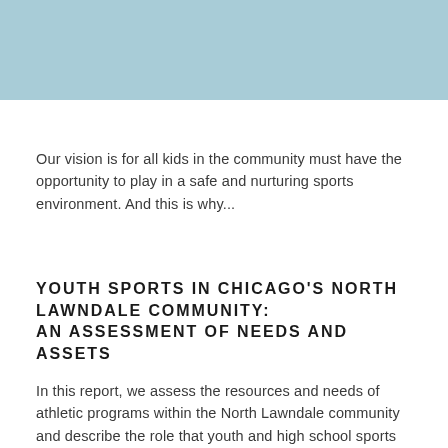[Figure (other): Light blue banner/header image spanning the top of the page]
Our vision is for all kids in the community must have the opportunity to play in a safe and nurturing sports environment. And this is why...
YOUTH SPORTS IN CHICAGO'S NORTH LAWNDALE COMMUNITY: AN ASSESSMENT OF NEEDS AND ASSETS
In this report, we assess the resources and needs of athletic programs within the North Lawndale community and describe the role that youth and high school sports play in